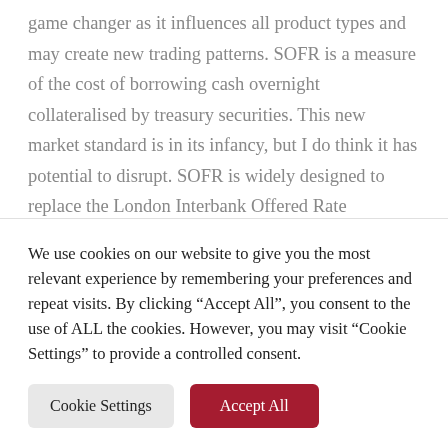game changer as it influences all product types and may create new trading patterns. SOFR is a measure of the cost of borrowing cash overnight collateralised by treasury securities. This new market standard is in its infancy, but I do think it has potential to disrupt. SOFR is widely designed to replace the London Interbank Offered Rate (LIBOR). The market is pretty nervous, so I do expect that there will be some important developments which will
We use cookies on our website to give you the most relevant experience by remembering your preferences and repeat visits. By clicking "Accept All", you consent to the use of ALL the cookies. However, you may visit "Cookie Settings" to provide a controlled consent.
Cookie Settings
Accept All